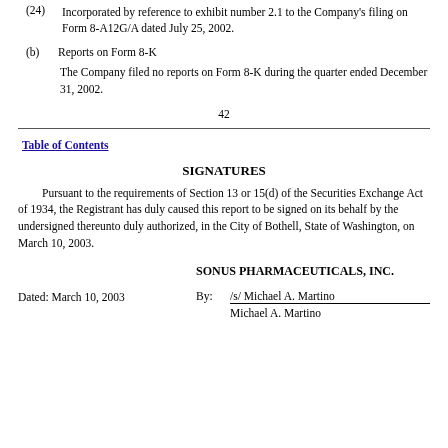(24) Incorporated by reference to exhibit number 2.1 to the Company's filing on Form 8-A12G/A dated July 25, 2002.
(b) Reports on Form 8-K
The Company filed no reports on Form 8-K during the quarter ended December 31, 2002.
42
Table of Contents
SIGNATURES
Pursuant to the requirements of Section 13 or 15(d) of the Securities Exchange Act of 1934, the Registrant has duly caused this report to be signed on its behalf by the undersigned thereunto duly authorized, in the City of Bothell, State of Washington, on March 10, 2003.
SONUS PHARMACEUTICALS, INC.
Dated: March 10, 2003
By: /s/ Michael A. Martino
Michael A. Martino